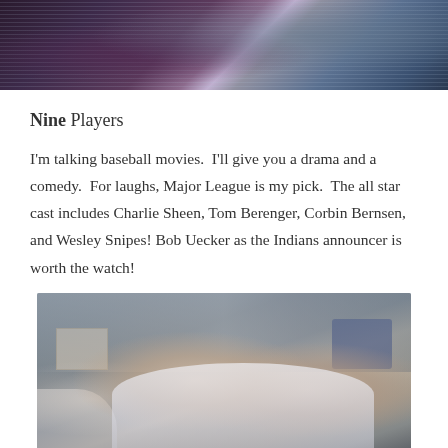[Figure (photo): Top portion of a movie promotional image, dark tones with purple and blue hues, partially cropped]
Nine Players
I'm talking baseball movies.  I'll give you a drama and a comedy.  For laughs, Major League is my pick.  The all star cast includes Charlie Sheen, Tom Berenger, Corbin Bernsen, and Wesley Snipes! Bob Uecker as the Indians announcer is worth the watch!
[Figure (photo): Black and white photo of two baseball players in a locker room setting, one with blonde hair in a white uniform, another with dark hair]